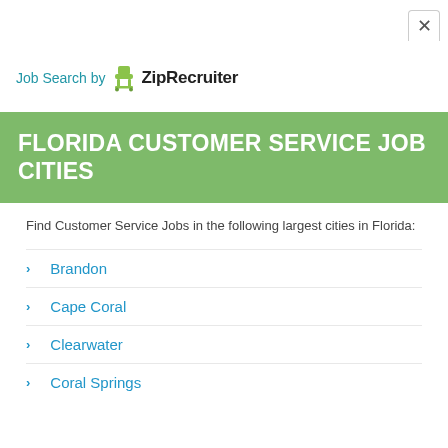[Figure (logo): ZipRecruiter logo with green chair icon and bold text 'ZipRecruiter']
Job Search by ZipRecruiter
FLORIDA CUSTOMER SERVICE JOB CITIES
Find Customer Service Jobs in the following largest cities in Florida:
Brandon
Cape Coral
Clearwater
Coral Springs